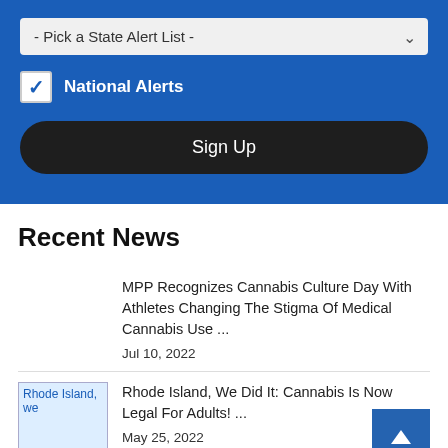[Figure (screenshot): Blue signup form with a dropdown 'Pick a State Alert List', a checked 'National Alerts' checkbox, and a dark 'Sign Up' button]
Recent News
MPP Recognizes Cannabis Culture Day With Athletes Changing The Stigma Of Medical Cannabis Use ...
Jul 10, 2022
Rhode Island, We Did It: Cannabis Is Now Legal For Adults! ...
May 25, 2022